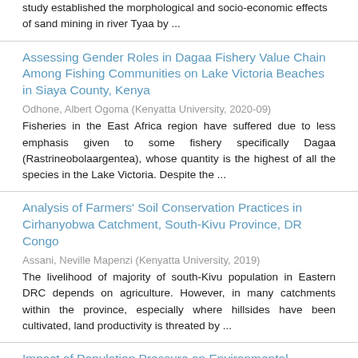study established the morphological and socio-economic effects of sand mining in river Tyaa by ...
Assessing Gender Roles in Dagaa Fishery Value Chain Among Fishing Communities on Lake Victoria Beaches in Siaya County, Kenya
Odhone, Albert Ogoma (Kenyatta University, 2020-09)
Fisheries in the East Africa region have suffered due to less emphasis given to some fishery specifically Dagaa (Rastrineobolaargentea), whose quantity is the highest of all the species in the Lake Victoria. Despite the ...
Analysis of Farmers' Soil Conservation Practices in Cirhanyobwa Catchment, South-Kivu Province, DR Congo
Assani, Neville Mapenzi (Kenyatta University, 2019)
The livelihood of majority of south-Kivu population in Eastern DRC depends on agriculture. However, in many catchments within the province, especially where hillsides have been cultivated, land productivity is threated by ...
Impact of Population Pressure on Environmental Degradation in Katagum Region, Bauchi State, Nigeria